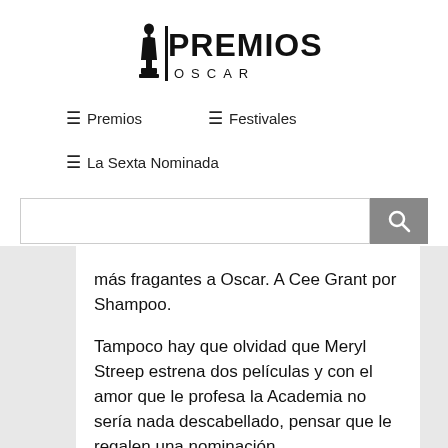[Figure (logo): Premios Oscar logo with Oscar statuette silhouette and text PREMIOS OSCAR]
☰ Premios
☰ Festivales
☰ La Sexta Nominada
más fragantes a Oscar. A Cee Grant por Shampoo. Tampoco hay que olvidad que Meryl Streep estrena dos películas y con el amor que le profesa la Academia no sería nada descabellado, pensar que le regalen una nominación. En mejor actriz, espero que no se mueve al quinteto aunque